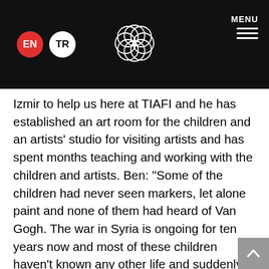EN TR [logo] MENU
Izmir to help us here at TIAFI and he has established an art room for the children and an artists' studio for visiting artists and has spent months teaching and working with the children and artists. Ben: “Some of the children had never seen markers, let alone paint and none of them had heard of Van Gogh. The war in Syria is ongoing for ten years now and most of these children haven’t known any other life and suddenly they were laughing and painting up a storm. I felt that giving them the opportunity to draw and paint gave them a little bit of humanity back and it utterly reinforced my belief in the creative act. Being creative is part of what makes us human.” If you would like to support this project you can donate here: https://www.gofundme.com/f/bens-tiafi-refugee-